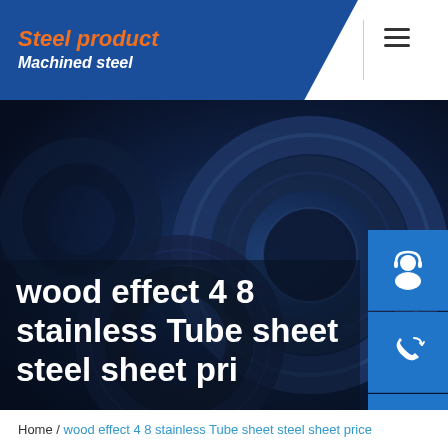Steel product / Machined steel
wood effect 4 8 stainless Tube sheet steel sheet pri
[Figure (illustration): Dark blue steel tube/pipe cross-section background image with side navigation buttons (customer service headset icon, phone icon, Skype icon) on the right side.]
Home / wood effect 4 8 stainless Tube sheet steel sheet price